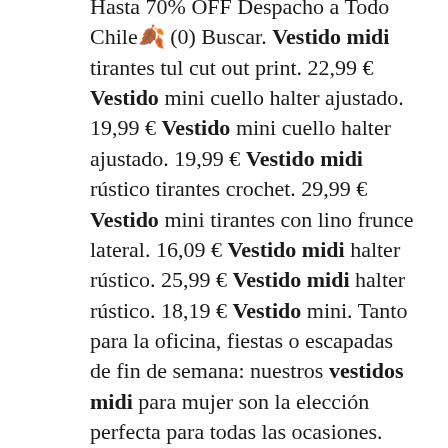Hasta 70% OFF Despacho a Todo Chile🍂 (0) Buscar. Vestido midi tirantes tul cut out print. 22,99 € Vestido mini cuello halter ajustado. 19,99 € Vestido mini cuello halter ajustado. 19,99 € Vestido midi rústico tirantes crochet. 29,99 € Vestido mini tirantes con lino frunce lateral. 16,09 € Vestido midi halter rústico. 25,99 € Vestido midi halter rústico. 18,19 € Vestido mini. Tanto para la oficina, fiestas o escapadas de fin de semana: nuestros vestidos midi para mujer son la elección perfecta para todas las ocasiones. Descubre una gran gama de modelos con el largo perfecto, fabricados en tejidos de calidad como el lino, algodón, punto, disponibles en una amplia gama de colores como los vestidos midi blancos, negros o rojos, y. Las mejores ofertas para Mini Vestido nuevo con etiquetas Rhode Rojo Trail Rosie Puff Manga Envolvente L están en eBay Compara precios y características de productos nuevos y usados